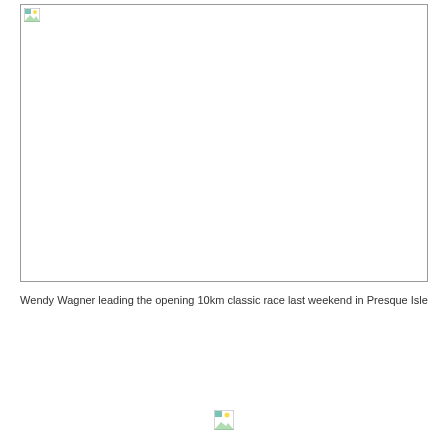[Figure (photo): A large photograph with a border showing a blank/white content area representing a photo of Wendy Wagner leading the opening 10km classic race last weekend in Presque Isle. The image appears as a bordered rectangle with a small icon in the top-left corner.]
Wendy Wagner leading the opening 10km classic race last weekend in Presque Isle
[Figure (photo): A small broken/loading image icon at the bottom center of the page.]